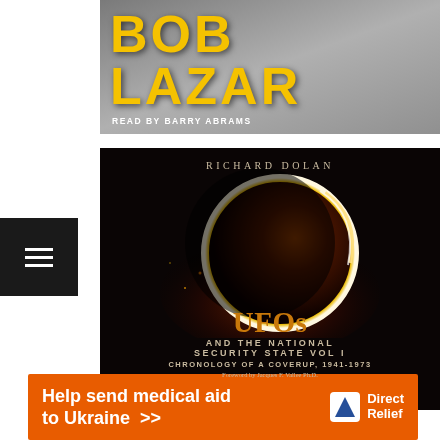[Figure (photo): Bob Lazar audiobook cover — bold yellow text 'BOB LAZAR' on gray background with subtitle 'READ BY BARRY ABRAMS']
[Figure (illustration): Book cover: 'UFOs and the National Security State Vol I — Chronology of a Coverup, 1941-1973' by Richard Dolan, Foreword by Jacques F. Vallee Ph.D. Dark background with glowing planet/eclipse imagery in orange and gold tones.]
[Figure (infographic): Orange advertisement banner: 'Help send medical aid to Ukraine >>' with Direct Relief logo on the right.]